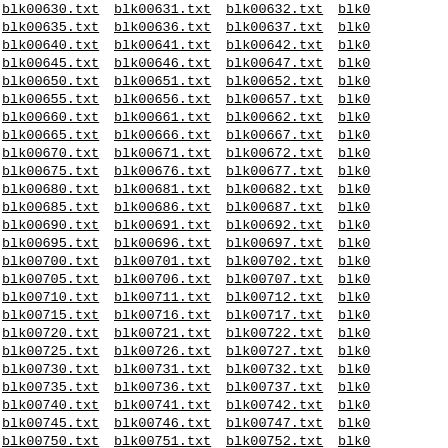blk00630.txt blk00631.txt blk00632.txt blk0... blk00635.txt blk00636.txt blk00637.txt blk0... (continues through blk00757.txt)